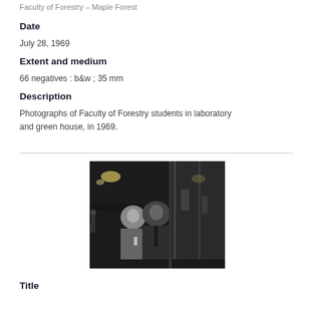Faculty of Forestry – Maple Forest
Date
July 28, 1969
Extent and medium
66 negatives : b&w ; 35 mm
Description
Photographs of Faculty of Forestry students in laboratory and green house, in 1969.
[Figure (photo): Black and white photograph of two men standing near glass doors/windows at night with lights visible in background and reflections in the glass.]
Title